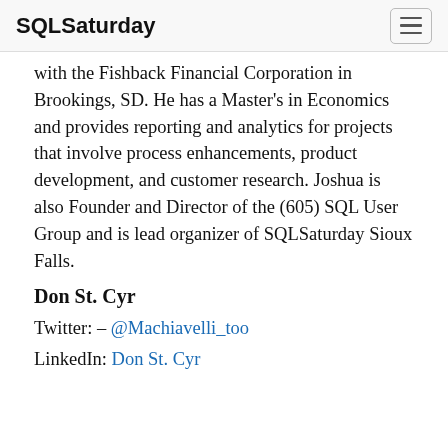SQLSaturday
with the Fishback Financial Corporation in Brookings, SD. He has a Master's in Economics and provides reporting and analytics for projects that involve process enhancements, product development, and customer research. Joshua is also Founder and Director of the (605) SQL User Group and is lead organizer of SQLSaturday Sioux Falls.
Don St. Cyr
Twitter: - @Machiavelli_too
LinkedIn: Don St. Cyr